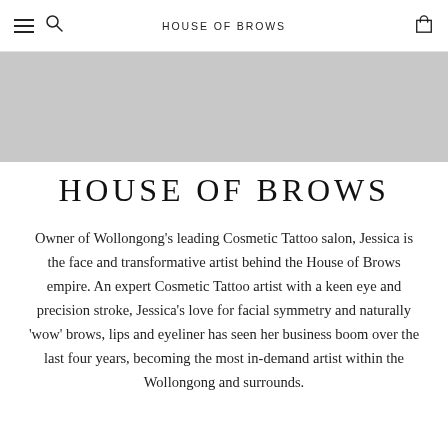HOUSE OF BROWS
[Figure (other): Grey banner/hero image placeholder]
HOUSE OF BROWS
Owner of Wollongong's leading Cosmetic Tattoo salon, Jessica is the face and transformative artist behind the House of Brows empire. An expert Cosmetic Tattoo artist with a keen eye and precision stroke, Jessica's love for facial symmetry and naturally 'wow' brows, lips and eyeliner has seen her business boom over the last four years, becoming the most in-demand artist within the Wollongong and surrounds.